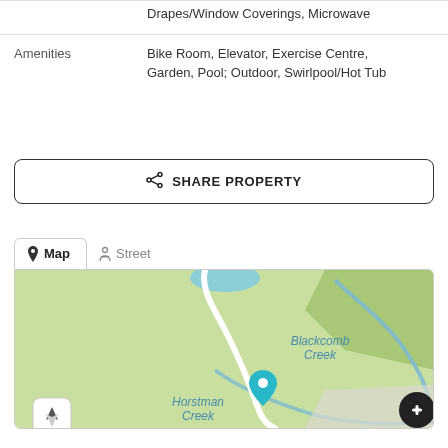|  |  |
| --- | --- |
|  | Drapes/Window Coverings, Microwave |
| Amenities | Bike Room, Elevator, Exercise Centre, Garden, Pool; Outdoor, Swirlpool/Hot Tub |
SHARE PROPERTY
[Figure (map): Map view with Map and Street tabs. Shows a green area map with Blackcomb Creek and Horstman Creek labeled. A blue location pin marker is visible. A compass/direction button is in the lower left. A zoom-in (+) button is in the lower right.]